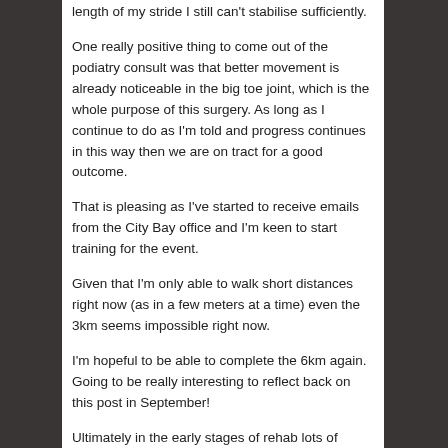length of my stride I still can't stabilise sufficiently.
One really positive thing to come out of the podiatry consult was that better movement is already noticeable in the big toe joint, which is the whole purpose of this surgery. As long as I continue to do as I'm told and progress continues in this way then we are on tract for a good outcome.
That is pleasing as I've started to receive emails from the City Bay office and I'm keen to start training for the event.
Given that I'm only able to walk short distances right now (as in a few meters at a time) even the 3km seems impossible right now.
I'm hopeful to be able to complete the 6km again. Going to be really interesting to reflect back on this post in September!
Ultimately in the early stages of rehab lots of working and certainly jogging or running are out of the equation.